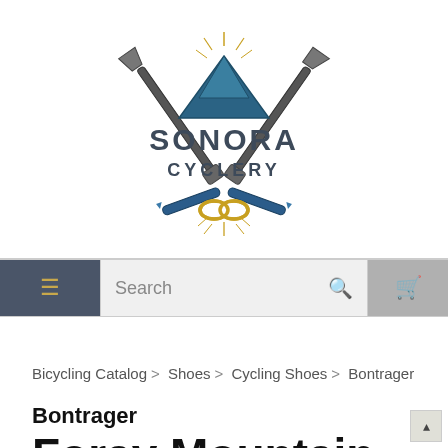[Figure (logo): Sonora Cyclery logo: two crossed ice axes with blue mountain silhouette, text SONORA CYCLERY, crossed tools below with chain link, gold and dark grey color scheme]
[Figure (screenshot): Navigation bar with hamburger menu (dark grey background, gold lines), search field with Search placeholder text and magnifying glass icon, and shopping cart icon on grey background]
Bicycling Catalog > Shoes > Cycling Shoes > Bontrager
Bontrager
Foray Mountain Bike